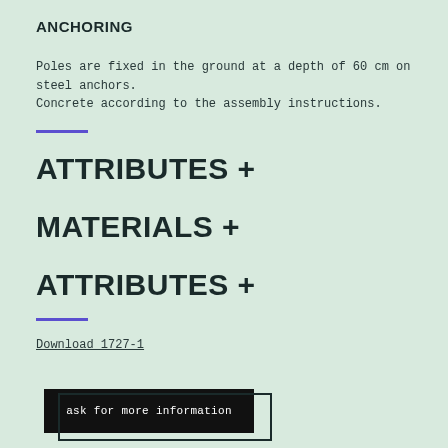ANCHORING
Poles are fixed in the ground at a depth of 60 cm on steel anchors. Concrete according to the assembly instructions.
ATTRIBUTES +
MATERIALS +
ATTRIBUTES +
Download 1727-1
ask for more information